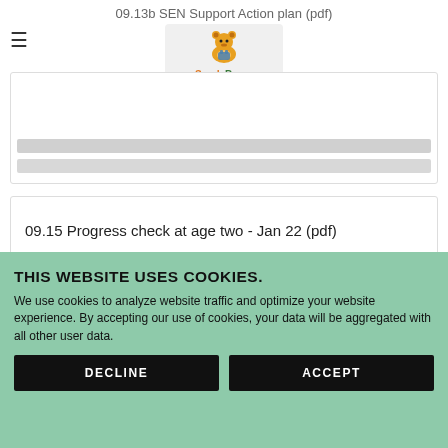09.13b SEN Support Action plan (pdf)
[Figure (logo): SandyBears nursery and preschool logo with cartoon bear]
09.15 Progress check at age two - Jan 22 (pdf)
THIS WEBSITE USES COOKIES.
We use cookies to analyze website traffic and optimize your website experience. By accepting our use of cookies, your data will be aggregated with all other user data.
DECLINE
ACCEPT